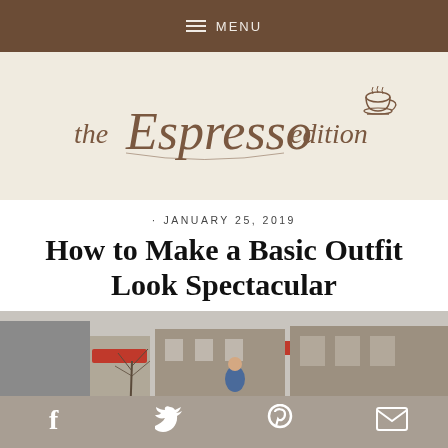MENU
[Figure (logo): The Espresso Edition blog logo — cursive and serif lettering with a coffee cup illustration]
· JANUARY 25, 2019
How to Make a Basic Outfit Look Spectacular
[Figure (photo): Street scene with storefronts, red awnings, bare winter trees, and a person in a blue coat]
Social share icons: Facebook, Twitter, Pinterest, Email